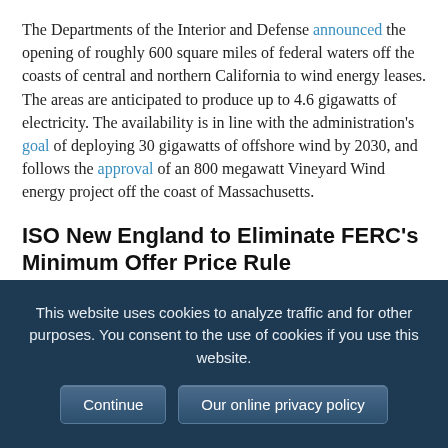The Departments of the Interior and Defense announced the opening of roughly 600 square miles of federal waters off the coasts of central and northern California to wind energy leases. The areas are anticipated to produce up to 4.6 gigawatts of electricity. The availability is in line with the administration's goal of deploying 30 gigawatts of offshore wind by 2030, and follows the approval of an 800 megawatt Vineyard Wind energy project off the coast of Massachusetts.
ISO New England to Eliminate FERC's Minimum Offer Price Rule
ISO New England said it would file to eliminate its implementation of Federal Energy Regulatory Commission's
This website uses cookies to analyze traffic and for other purposes. You consent to the use of cookies if you use this website.